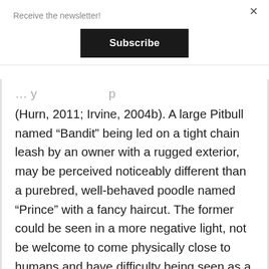Receive the newsletter!
Subscribe
(Hurn, 2011; Irvine, 2004b). A large Pitbull named “Bandit” being led on a tight chain leash by an owner with a rugged exterior, may be perceived noticeably different than a purebred, well-behaved poodle named “Prince” with a fancy haircut. The former could be seen in a more negative light, not be welcome to come physically close to humans and have difficulty being seen as a person. The latter may receive abundant